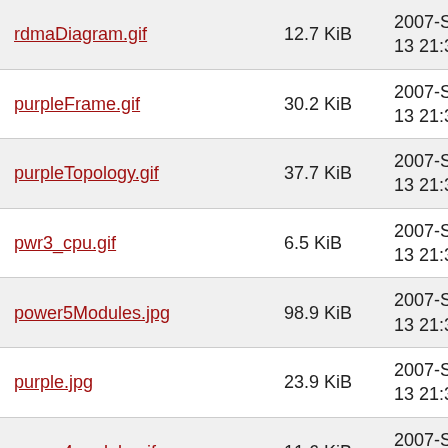| Name | Size | Date |
| --- | --- | --- |
| rdmaDiagram.gif | 12.7 KiB | 2007-Sep-13 21:31 |
| purpleFrame.gif | 30.2 KiB | 2007-Sep-13 21:31 |
| purpleTopology.gif | 37.7 KiB | 2007-Sep-13 21:31 |
| pwr3_cpu.gif | 6.5 KiB | 2007-Sep-13 21:31 |
| power5Modules.jpg | 98.9 KiB | 2007-Sep-13 21:31 |
| purple.jpg | 23.9 KiB | 2007-Sep-13 21:31 |
| power4module.gif | 11.6 KiB | 2007-Sep-13 21:31 |
| pseries.gif | 26.7 KiB | 2007-Sep-13 21:31 |
| power5Chip.gif | 12.2 KiB | 2007-Sep-13 21:31 |
| power4chip.gif | 11.0 KiB | 2007-Sep-13 21:31 |
| power4board.gif | 77.4 KiB | 2007-Sep-13 21:31 |